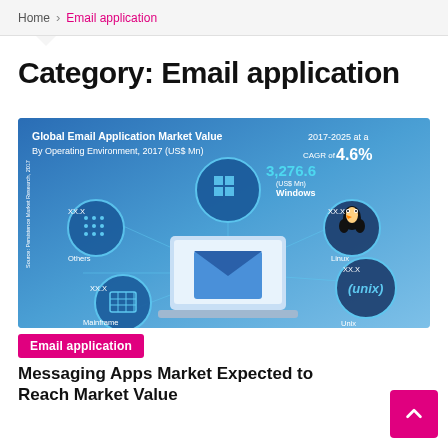Home > Email application
Category: Email application
[Figure (infographic): Global Email Application Market Value By Operating Environment, 2017 (US$ Mn). Shows 3,276.6 (US$ Mn) for Windows with CAGR of 4.6% from 2017-2025. Operating environments shown: Windows, Linux, Unix, Mainframe, Others. Central image shows a laptop with email envelope icon.]
Email application
Messaging Apps Market Expected to Reach Market Value